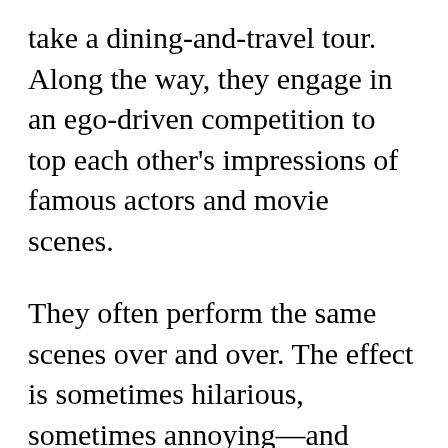take a dining-and-travel tour. Along the way, they engage in an ego-driven competition to top each other’s impressions of famous actors and movie scenes.
They often perform the same scenes over and over. The effect is sometimes hilarious, sometimes annoying—and frequently both.
If you find Brydon’s Pacino voice grating, you could wear earplugs and still enjoy The Trip To Italy because the scenery starts off gorgeous and keeps getting better as they wend their way from Genoa to Tuscany and